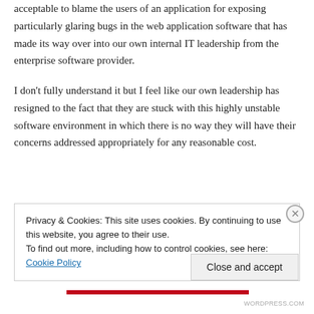acceptable to blame the users of an application for exposing particularly glaring bugs in the web application software that has made its way over into our own internal IT leadership from the enterprise software provider.
I don't fully understand it but I feel like our own leadership has resigned to the fact that they are stuck with this highly unstable software environment in which there is no way they will have their concerns addressed appropriately for any reasonable cost.
Privacy & Cookies: This site uses cookies. By continuing to use this website, you agree to their use.
To find out more, including how to control cookies, see here: Cookie Policy
Close and accept